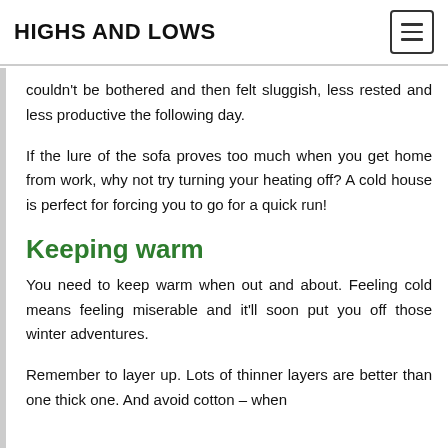HIGHS AND LOWS
couldn't be bothered and then felt sluggish, less rested and less productive the following day.
If the lure of the sofa proves too much when you get home from work, why not try turning your heating off? A cold house is perfect for forcing you to go for a quick run!
Keeping warm
You need to keep warm when out and about. Feeling cold means feeling miserable and it'll soon put you off those winter adventures.
Remember to layer up. Lots of thinner layers are better than one thick one. And avoid cotton – when